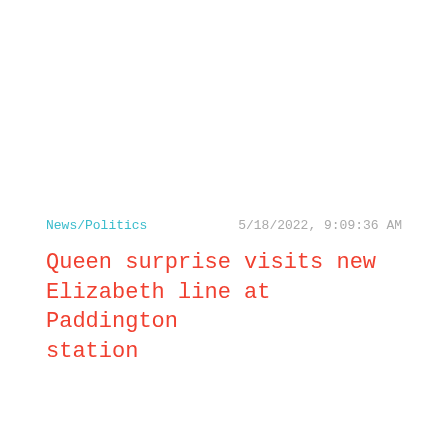News/Politics
5/18/2022, 9:09:36 AM
Queen surprise visits new Elizabeth line at Paddington station